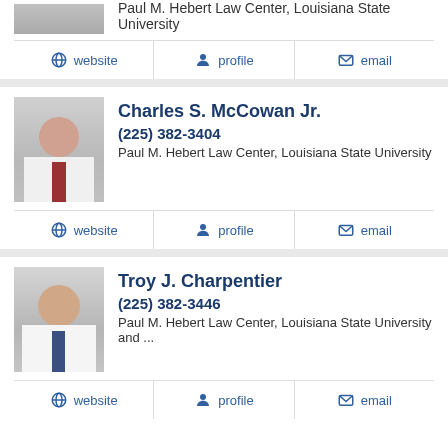[Figure (photo): Partial photo of person at top of page]
Paul M. Hebert Law Center, Louisiana State University
website  profile  email
Charles S. McCowan Jr.
(225) 382-3404
Paul M. Hebert Law Center, Louisiana State University
website  profile  email
Troy J. Charpentier
(225) 382-3446
Paul M. Hebert Law Center, Louisiana State University and ...
website  profile  email